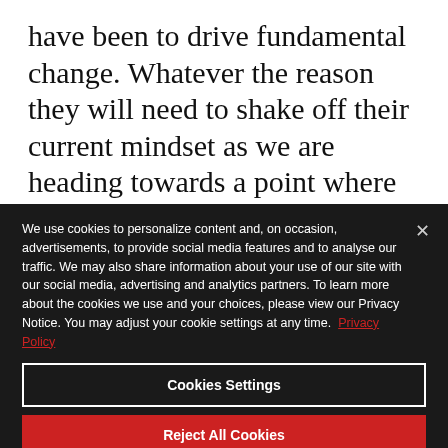have been to drive fundamental change. Whatever the reason they will need to shake off their current mindset as we are heading towards a point where the current model could be unrecognisable in as little as five years' time.
We use cookies to personalize content and, on occasion, advertisements, to provide social media features and to analyse our traffic. We may also share information about your use of our site with our social media, advertising and analytics partners. To learn more about the cookies we use and your choices, please view our Privacy Notice. You may adjust your cookie settings at any time.  Privacy Policy
Cookies Settings
Reject All Cookies